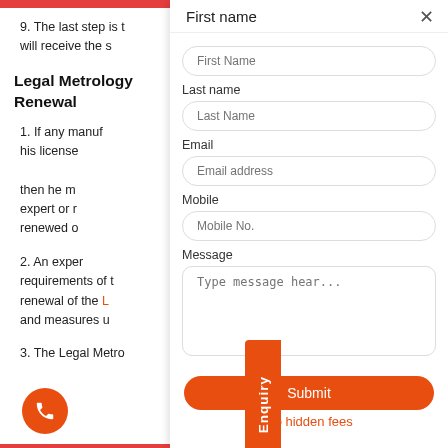9. The last step is t will receive the s
Legal Metrology Renewal
1. If any manuf his license then he m expert or t renewed o
2. An expert requirements of t renewal of the L and measures u
3. The Legal Metro
[Figure (screenshot): Enquiry contact form overlay with fields: First name, Last name, Email, Mobile, Message, Submit button, and No hidden fees text. Close button at top right.]